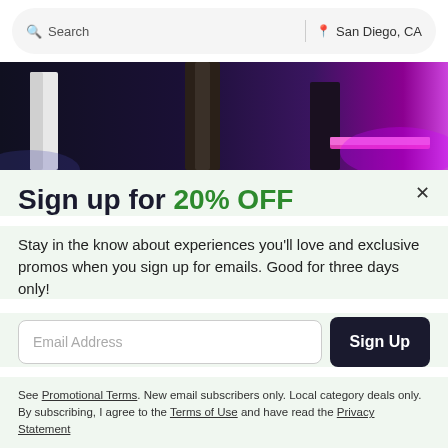Search  |  San Diego, CA
[Figure (photo): Concert stage photo showing performers from the waist down, dark background with purple and pink stage lighting]
Sign up for 20% OFF
Stay in the know about experiences you'll love and exclusive promos when you sign up for emails. Good for three days only!
Email Address  [Sign Up button]
See Promotional Terms. New email subscribers only. Local category deals only. By subscribing, I agree to the Terms of Use and have read the Privacy Statement